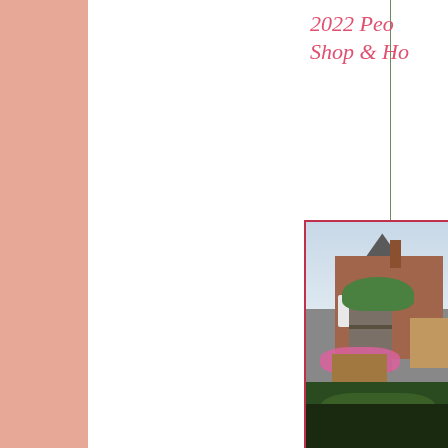2022 Peo... Shop & Ho...
[Figure (photo): Outdoor garden nursery or plant sale with shelving racks holding potted plants, pink flowers, wooden benches, brick building in background, overcast sky]